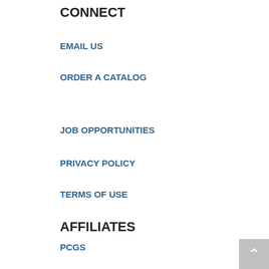CONNECT
EMAIL US
ORDER A CATALOG
JOB OPPORTUNITIES
PRIVACY POLICY
TERMS OF USE
AFFILIATES
PCGS
NGC
CAC